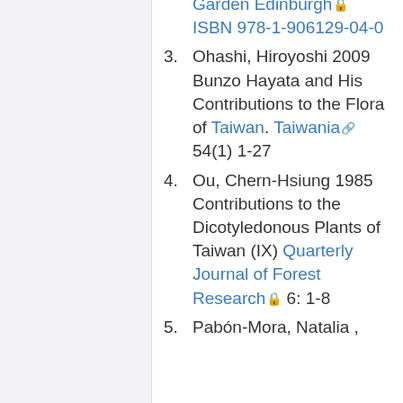... Garden Edinburgh ISBN 978-1-906129-04-0
3. Ohashi, Hiroyoshi 2009 Bunzo Hayata and His Contributions to the Flora of Taiwan. Taiwania 54(1) 1-27
4. Ou, Chern-Hsiung 1985 Contributions to the Dicotyledonous Plants of Taiwan (IX) Quarterly Journal of Forest Research 6: 1-8
5. Pabón-Mora, Natalia ,